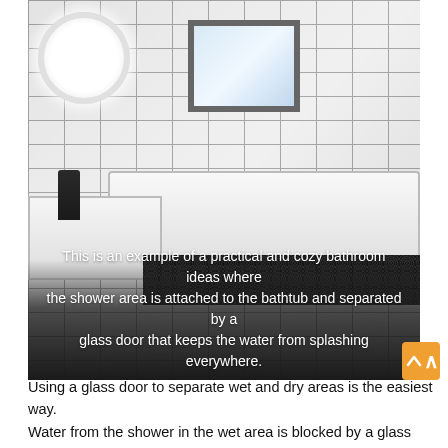[Figure (photo): A modern bathroom with white subway tiles covering the walls, a round illuminated mirror in the upper left, a window in the center background, a white bathtub with black matte fixtures and shower on the right, white sink/vanity on the left with dark soap dispensers and wooden organizer, and a black hexagonal honeycomb tile accent along the bottom of the bathtub surround.]
This is an example of a practical and cozy bathroom ideas where the shower area is attached to the bathtub and separated by a glass door that keeps the water from splashing everywhere.
Using a glass door to separate wet and dry areas is the easiest wa... Water from the shower in the wet area is blocked by a glass door to